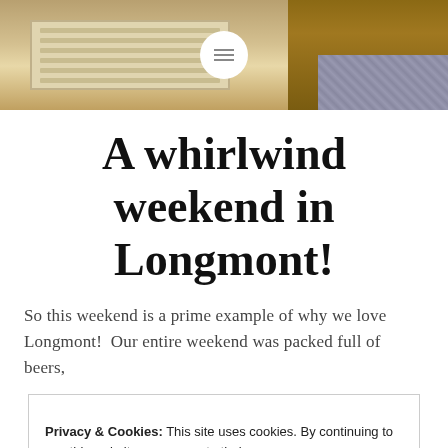[Figure (photo): Interior room photo showing a wall vent, wooden railing/shelf, and geometric patterned carpet/rug. A circular menu icon is overlaid in the center.]
A whirlwind weekend in Longmont!
So this weekend is a prime example of why we love Longmont!  Our entire weekend was packed full of beers,
Privacy & Cookies: This site uses cookies. By continuing to use this website, you agree to their use.
To find out more, including how to control cookies, see here: Cookie Policy
Close and accept
READ MORE